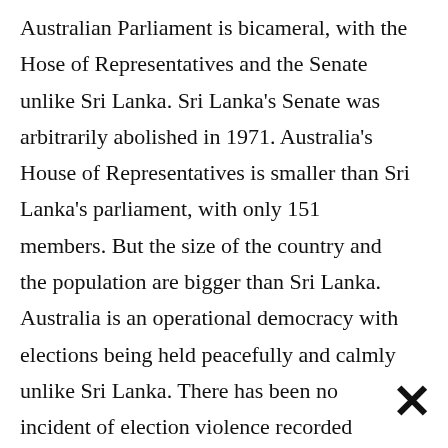Australian Parliament is bicameral, with the Hose of Representatives and the Senate unlike Sri Lanka. Sri Lanka's Senate was arbitrarily abolished in 1971. Australia's House of Representatives is smaller than Sri Lanka's parliament, with only 151 members. But the size of the country and the population are bigger than Sri Lanka. Australia is an operational democracy with elections being held peacefully and calmly unlike Sri Lanka. There has been no incident of election violence recorded during the campaign period or thereafter.
[Figure (other): Advertisement banner with Petco logo showing in-store shopping and curbside pickup options, navigation icon, scroll-up button, and small play/close icons at bottom]